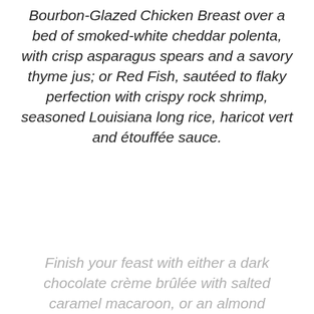Bourbon-Glazed Chicken Breast over a bed of smoked-white cheddar polenta, with crisp asparagus spears and a savory thyme jus; or Red Fish, sautéed to flaky perfection with crispy rock shrimp, seasoned Louisiana long rice, haricot vert and étouffée sauce.
Finish your feast with either a dark chocolate crème brûlée with salted caramel macaroon, or an almond